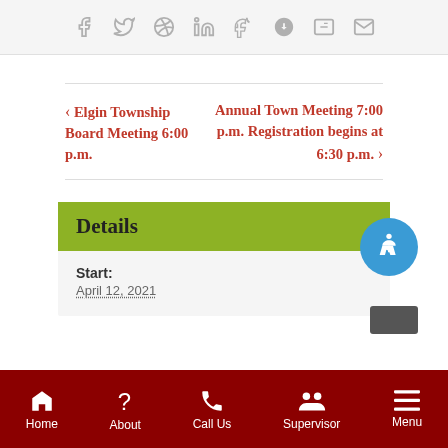[Figure (infographic): Social media sharing icons bar: Facebook, Twitter, Reddit, LinkedIn, Tumblr, Pinterest, VK, Email]
< Elgin Township Board Meeting 6:00 p.m.
Annual Town Meeting 7:00 p.m. Registration begins at 6:30 p.m. >
Details
Start:
April 12, 2021
Home  About  Call Us  Supervisor  Menu